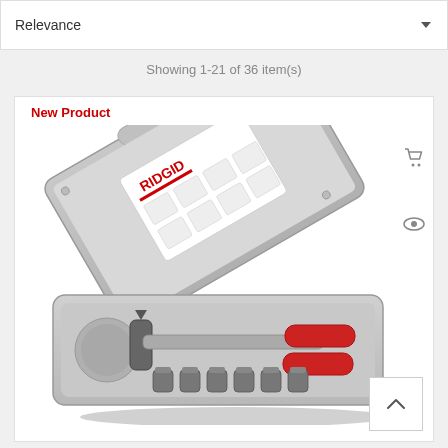Relevance
Showing 1-21 of 36 item(s)
New Product
[Figure (photo): RIDGID tool set in a grey plastic carrying case, open to show tube expander tools with red handles and multiple attachments, displayed on white background]